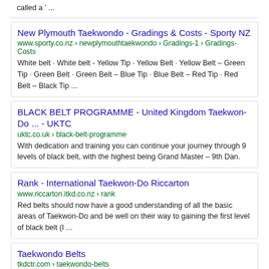called a ' ...
New Plymouth Taekwondo - Gradings & Costs - Sporty NZ
www.sporty.co.nz › newplymouthtaekwondo › Gradings-1 › Gradings-Costs
White belt · White belt - Yellow Tip · Yellow Belt · Yellow Belt – Green Tip · Green Belt · Green Belt – Blue Tip · Blue Belt – Red Tip · Red Belt – Black Tip ...
BLACK BELT PROGRAMME - United Kingdom Taekwon-Do ... - UKTC
uktc.co.uk › black-belt-programme
With dedication and training you can continue your journey through 9 levels of black belt, with the highest being Grand Master – 9th Dan.
Rank - International Taekwon-Do Riccarton
www.riccarton.itkd.co.nz › rank
Red belts should now have a good understanding of all the basic areas of Taekwon-Do and be well on their way to gaining the first level of black belt (I ...
Taekwondo Belts
tkdctr.com › taekwondo-belts
Taekwondo Belts · White Belt: Everyone begins at the White Belt level... · Yellow Belt: This is the next level after white. · Orange Belt: Once student